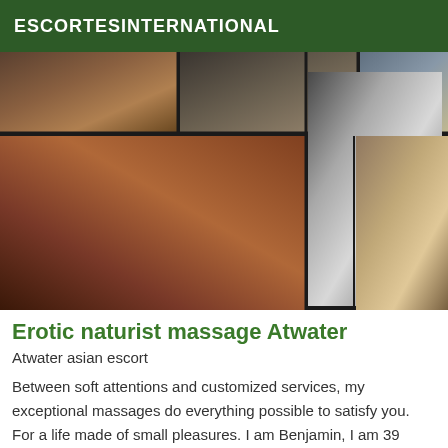ESCORTESINTERNATIONAL
[Figure (photo): Collage of multiple photos showing massage and body images arranged in a grid layout]
Erotic naturist massage Atwater
Atwater asian escort
Between soft attentions and customized services, my exceptional massages do everything possible to satisfy you. For a life made of small pleasures. I am Benjamin, I am 39 years old, I am blond, blue eyes, I am 1.76 m tall,